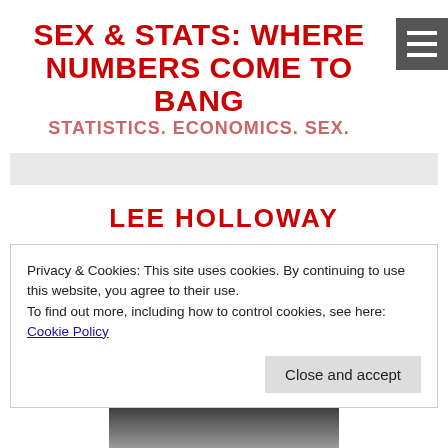SEX & STATS: WHERE NUMBERS COME TO BANG
STATISTICS. ECONOMICS. SEX.
LEE HOLLOWAY
#THROWBACKTHURSDAY: "SECRETARY" 2002
Privacy & Cookies: This site uses cookies. By continuing to use this website, you agree to their use.
To find out more, including how to control cookies, see here: Cookie Policy
Close and accept